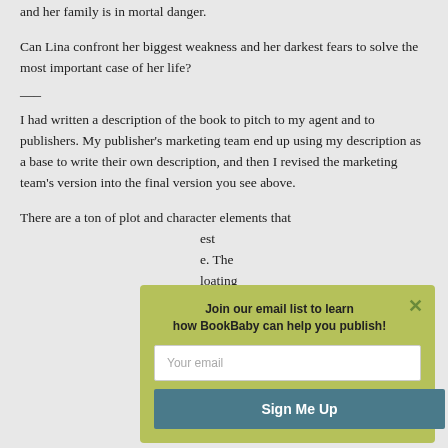and her family is in mortal danger.
Can Lina confront her biggest weakness and her darkest fears to solve the most important case of her life?
—–
I had written a description of the book to pitch to my agent and to publishers. My publisher's marketing team end up using my description as a base to write their own description, and then I revised the marketing team's version into the final version you see above.
There are a ton of plot and character elements that... est ... e. The ... loating ... ng the
[Figure (infographic): Email signup modal overlay with olive/yellow-green background. Contains title 'Join our email list to learn how BookBaby can help you publish!', an email input field with placeholder 'Your email', a 'Sign Me Up' button in teal, and a close X button in green.]
[Figure (illustration): Cookie consent icon: a circular cookie with dots, outlined in dark navy blue, positioned in the bottom right corner.]